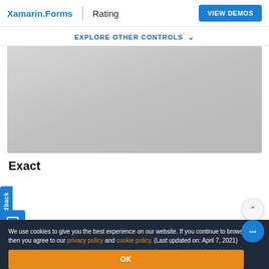Xamarin.Forms | Rating  VIEW DEMOS
EXPLORE OTHER CONTROLS
[Figure (screenshot): Gray demo area showing a Xamarin.Forms Rating control demo screenshot placeholder]
Exact
We use cookies to give you the best experience on our website. If you continue to browse, then you agree to our privacy policy and cookie policy. (Last updated on: April 7, 2021)
OK